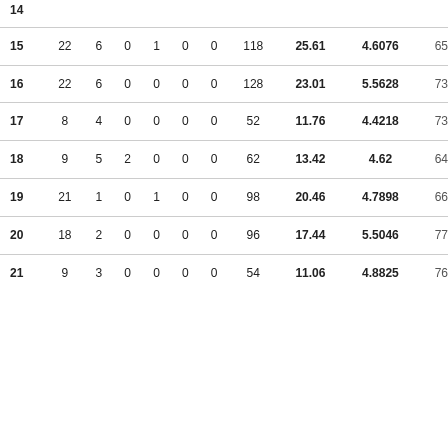| # | col1 | col2 | col3 | col4 | col5 | col6 | col7 | col8 | col9 | col10 |
| --- | --- | --- | --- | --- | --- | --- | --- | --- | --- | --- |
| 14(partial) | ... | ... | ... | ... | ... | ... | ... | ... | ... | ... |
| 15 | 22 | 6 | 0 | 1 | 0 | 0 | 118 | 25.61 | 4.6076 | 65 |
| 16 | 22 | 6 | 0 | 0 | 0 | 0 | 128 | 23.01 | 5.5628 | 73 |
| 17 | 8 | 4 | 0 | 0 | 0 | 0 | 52 | 11.76 | 4.4218 | 73 |
| 18 | 9 | 5 | 2 | 0 | 0 | 0 | 62 | 13.42 | 4.62 | 64 |
| 19 | 21 | 1 | 0 | 1 | 0 | 0 | 98 | 20.46 | 4.7898 | 66 |
| 20 | 18 | 2 | 0 | 0 | 0 | 0 | 96 | 17.44 | 5.5046 | 77 |
| 21 | 9 | 3 | 0 | 0 | 0 | 0 | 54 | 11.06 | 4.8825 | 76 |